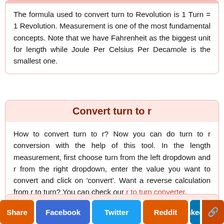The formula used to convert turn to Revolution is 1 Turn = 1 Revolution. Measurement is one of the most fundamental concepts. Note that we have Fahrenheit as the biggest unit for length while Joule Per Celsius Per Decamole is the smallest one.
Convert turn to r
How to convert turn to r? Now you can do turn to r conversion with the help of this tool. In the length measurement, first choose turn from the left dropdown and r from the right dropdown, enter the value you want to convert and click on 'convert'. Want a reverse calculation from r to turn? You can check our r to turn converter.
turn to r Converter